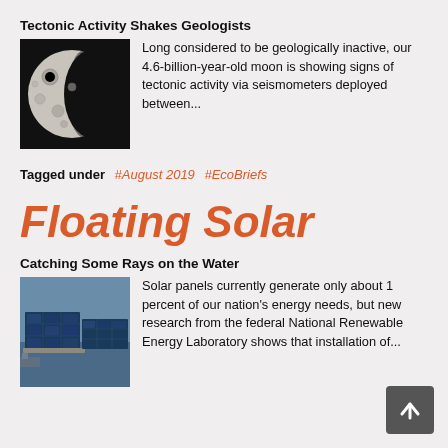Tectonic Activity Shakes Geologists
[Figure (photo): Black and white photo of the moon showing craters and surface details]
Long considered to be geologically inactive, our 4.6-billion-year-old moon is showing signs of tectonic activity via seismometers deployed between...
Tagged under  #August 2019  #EcoBriefs
Floating Solar
Catching Some Rays on the Water
[Figure (photo): Photo of floating solar panels on water]
Solar panels currently generate only about 1 percent of our nation's energy needs, but new research from the federal National Renewable Energy Laboratory shows that installation of...